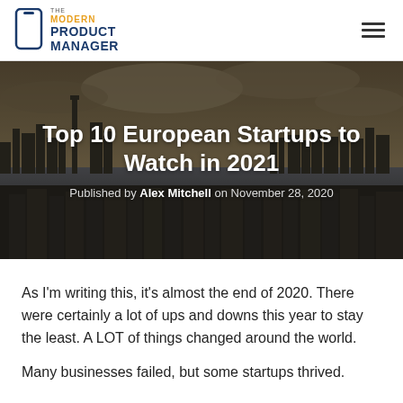The Modern Product Manager
[Figure (photo): Aerial cityscape photo with river and dramatic cloudy sky, used as hero background image]
Top 10 European Startups to Watch in 2021
Published by Alex Mitchell on November 28, 2020
As I'm writing this, it's almost the end of 2020. There were certainly a lot of ups and downs this year to stay the least. A LOT of things changed around the world.
Many businesses failed, but some startups thrived.